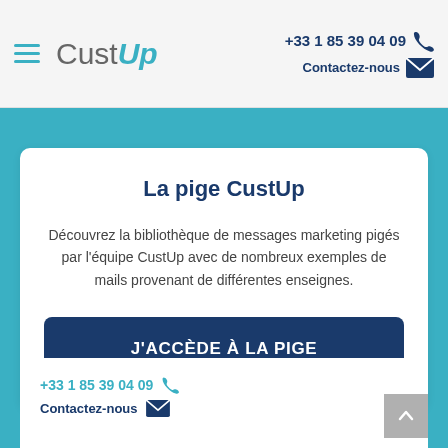CustUp — +33 1 85 39 04 09 — Contactez-nous
La pige CustUp
Découvrez la bibliothèque de messages marketing pigés par l'équipe CustUp avec de nombreux exemples de mails provenant de différentes enseignes.
J'ACCÈDE À LA PIGE
+33 1 85 39 04 09 — Contactez-nous